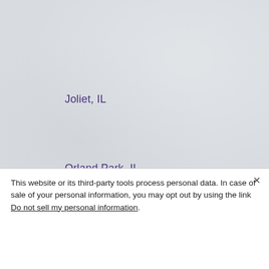[Figure (map): Light gray map background showing the Chicago metro area with city label markers for Joliet IL, Orland Park IL, and Gary IL in purple text.]
Joliet, IL
Orland Park, IL
Gary, IL
This website or its third-party tools process personal data. In case of sale of your personal information, you may opt out by using the link Do not sell my personal information.